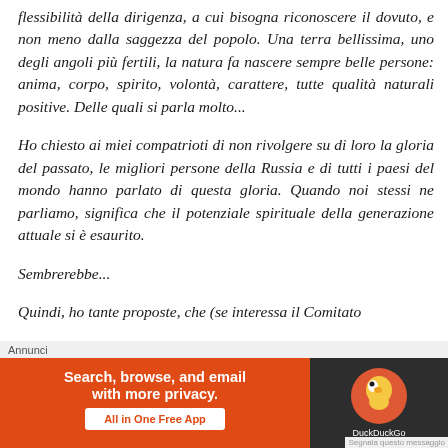flessibilità della dirigenza, a cui bisogna riconoscere il dovuto, e non meno dalla saggezza del popolo. Una terra bellissima, uno degli angoli più fertili, la natura fa nascere sempre belle persone: anima, corpo, spirito, volontà, carattere, tutte qualità naturali positive. Delle quali si parla molto...
Ho chiesto ai miei compatrioti di non rivolgere su di loro la gloria del passato, le migliori persone della Russia e di tutti i paesi del mondo hanno parlato di questa gloria. Quando noi stessi ne parliamo, significa che il potenziale spirituale della generazione attuale si è esaurito.
Sembrerebbe...
Quindi, ho tante proposte, che (se interessa il Comitato
[Figure (screenshot): Advertisement banner for DuckDuckGo app with orange background on left side reading 'Search, browse, and email with more privacy. All in One Free App' and dark right side with DuckDuckGo logo and name. Above banner is 'Annunci' label.]